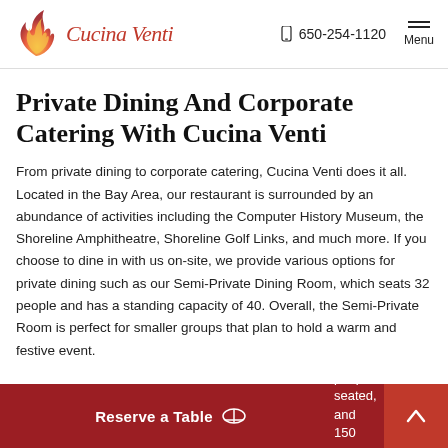650-254-1120  Menu
Private Dining And Corporate Catering With Cucina Venti
From private dining to corporate catering, Cucina Venti does it all. Located in the Bay Area, our restaurant is surrounded by an abundance of activities including the Computer History Museum, the Shoreline Amphitheatre, Shoreline Golf Links, and much more. If you choose to dine in with us on-site, we provide various options for private dining such as our Semi-Private Dining Room, which seats 32 people and has a standing capacity of 40. Overall, the Semi-Private Room is perfect for smaller groups that plan to hold a warm and festive event.
Reserve a Table  r event, Cucina Venti can a... 5 people seated, and 150